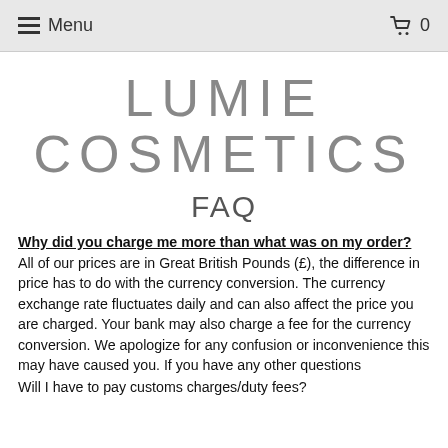Menu  0
LUMIE COSMETICS
FAQ
Why did you charge me more than what was on my order? All of our prices are in Great British Pounds (£), the difference in price has to do with the currency conversion. The currency exchange rate fluctuates daily and can also affect the price you are charged. Your bank may also charge a fee for the currency conversion. We apologize for any confusion or inconvenience this may have caused you. If you have any other questions
Will I have to pay customs charges/duty fees?